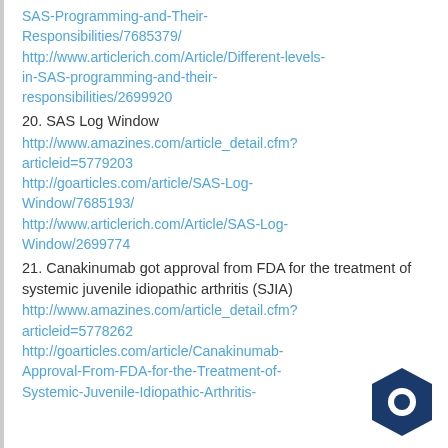SAS-Programming-and-Their-Responsibilities/7685379/
http://www.articlerich.com/Article/Different-levels-in-SAS-programming-and-their-responsibilities/2699920
20. SAS Log Window
http://www.amazines.com/article_detail.cfm?articleid=5779203
http://goarticles.com/article/SAS-Log-Window/7685193/
http://www.articlerich.com/Article/SAS-Log-Window/2699774
21. Canakinumab got approval from FDA for the treatment of systemic juvenile idiopathic arthritis (SJIA)
http://www.amazines.com/article_detail.cfm?articleid=5778262
http://goarticles.com/article/Canakinumab-Approval-From-FDA-for-the-Treatment-of-Systemic-Juvenile-Idiopathic-Arthritis-